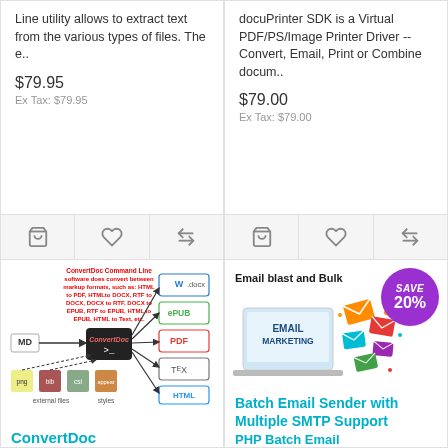Line utility allows to extract text from the various types of files. The e..
$79.95
Ex Tax: $79.95
docuPrinter SDK is a Virtual PDF/PS/Image Printer Driver -- Convert, Email, Print or Combine docum..
$79.00
Ex Tax: $79.00
[Figure (illustration): ConvertDoc Command Line software diagram showing conversion between markup formats: HTML to PDF, HTMLto DOCX, RTF to DOCX, DOCX to RTF, DOCX to EPUB, RTF to EPUB, HTML to EPUB, HTML to Text, etc. Shows MD and various input formats with arrows to output formats like DOCX, ePUB, PDF, TeX, HTML.]
ConvertDoc
[Figure (illustration): Email blast and Bulk email marketing image with a Save 20% badge, showing an EMAIL MARKETING laptop with colorful envelopes around it.]
Batch Email Sender with Multiple SMTP Support
PHP Batch Email